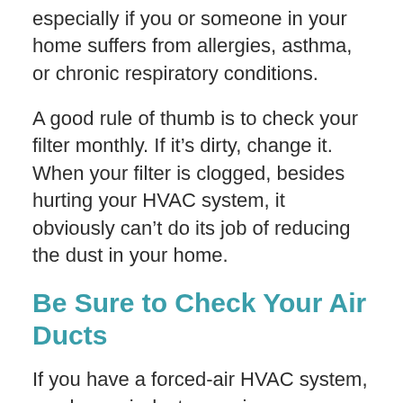especially if you or someone in your home suffers from allergies, asthma, or chronic respiratory conditions.
A good rule of thumb is to check your filter monthly. If it's dirty, change it. When your filter is clogged, besides hurting your HVAC system, it obviously can't do its job of reducing the dust in your home.
Be Sure to Check Your Air Ducts
If you have a forced-air HVAC system, you have air ducts carrying your home's air to and from your heating and cooling system. If your ducts